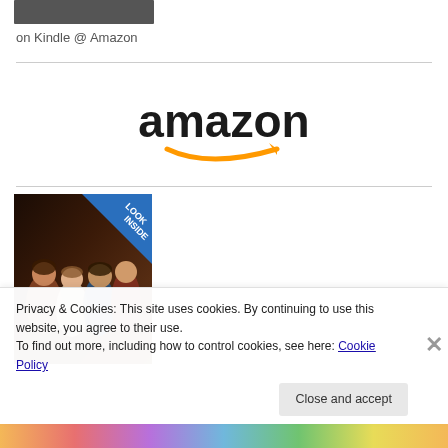[Figure (photo): Small book thumbnail at top, partially cropped]
on Kindle @ Amazon
[Figure (logo): Amazon logo with orange arrow smile]
[Figure (photo): Book cover showing classical painting of figures (women) with 'LOOK INSIDE' badge in blue]
Privacy & Cookies: This site uses cookies. By continuing to use this website, you agree to their use.
To find out more, including how to control cookies, see here: Cookie Policy
Close and accept